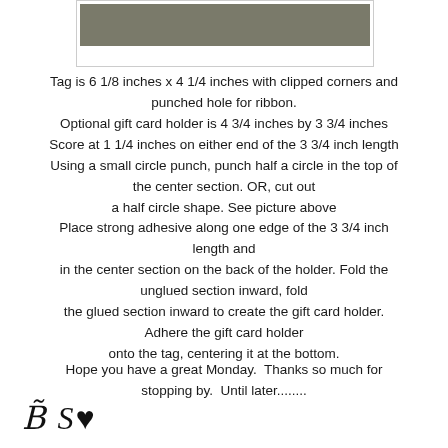[Figure (photo): A gray rectangular image at the top of the page, partially visible, centered with a white border.]
Tag is 6 1/8 inches x 4 1/4 inches with clipped corners and punched hole for ribbon.
Optional gift card holder is 4 3/4 inches by 3 3/4 inches
Score at 1 1/4 inches on either end of the 3 3/4 inch length
Using a small circle punch, punch half a circle in the top of the center section. OR, cut out
a half circle shape. See picture above
Place strong adhesive along one edge of the 3 3/4 inch length and
in the center section on the back of the holder. Fold the unglued section inward, fold
the glued section inward to create the gift card holder. Adhere the gift card holder
onto the tag, centering it at the bottom.
Hope you have a great Monday.  Thanks so much for stopping by.  Until later........
[Figure (illustration): Cursive signature or decorative text at the bottom left of the page.]